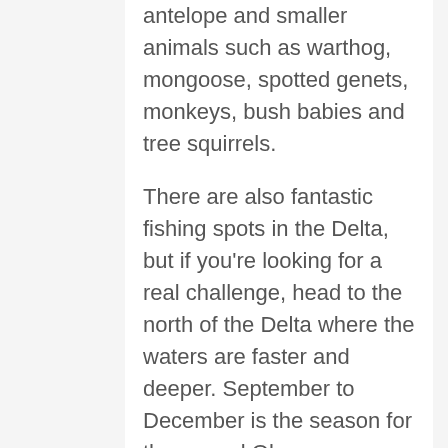antelope and smaller animals such as warthog, mongoose, spotted genets, monkeys, bush babies and tree squirrels.
There are also fantastic fishing spots in the Delta, but if you're looking for a real challenge, head to the north of the Delta where the waters are faster and deeper. September to December is the season for the annual Okavango Catfish run – it's a sight to behold.
Where: Mana Pools, Zimbabwe
Why: Mana Pools conservation area and national park is located in northern Zimbabwe, alongside the lower Zambezi River. Along the river line, you'll find a